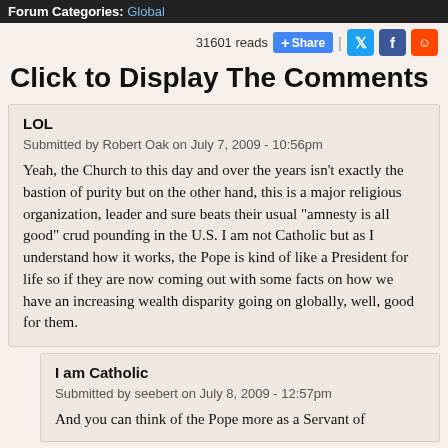Forum Categories: Global
31601 reads  + Share | [Twitter] [Facebook] [Reddit]
Click to Display The Comments
LOL
Submitted by Robert Oak on July 7, 2009 - 10:56pm
Yeah, the Church to this day and over the years isn't exactly the bastion of purity but on the other hand, this is a major religious organization, leader and sure beats their usual "amnesty is all good" crud pounding in the U.S. I am not Catholic but as I understand how it works, the Pope is kind of like a President for life so if they are now coming out with some facts on how we have an increasing wealth disparity going on globally, well, good for them.
I am Catholic
Submitted by seebert on July 8, 2009 - 12:57pm
And you can think of the Pope more as a Servant of